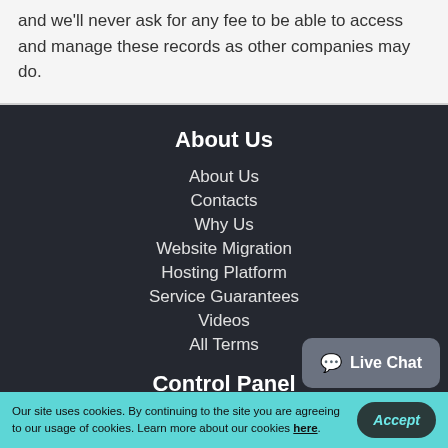and we'll never ask for any fee to be able to access and manage these records as other companies may do.
About Us
About Us
Contacts
Why Us
Website Migration
Hosting Platform
Service Guarantees
Videos
All Terms
Control Panel
Our site uses cookies. By continuing to the site you are agreeing to our usage of cookies. Learn more about our cookies here.